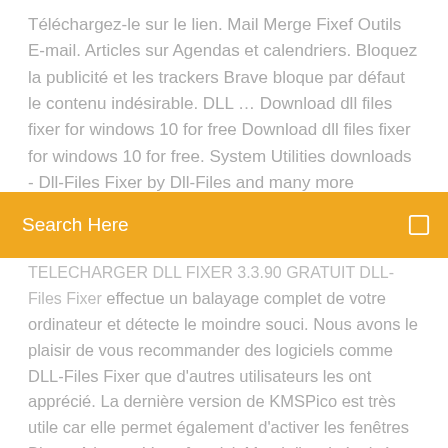Téléchargez-le sur le lien. Mail Merge Fixef Outils E-mail. Articles sur Agendas et calendriers. Bloquez la publicité et les trackers Brave bloque par défaut le contenu indésirable. DLL … Download dll files fixer for windows 10 for free Download dll files fixer for windows 10 for free. System Utilities downloads - Dll-Files Fixer by Dll-Files and many more programs are available for instant
Search Here
TELECHARGER DLL FIXER 3.3.90 GRATUIT DLL-Files Fixer effectue un balayage complet de votre ordinateur et détecte le moindre souci. Nous avons le plaisir de vous recommander des logiciels comme DLL-Files Fixer que d'autres utilisateurs les ont apprécié. La dernière version de KMSPico est très utile car elle permet également d'activer les fenêtres Blog – A la une Vous êtes ici: Merci d'avoir évalué ce programme! Dll-Files Fixer (free version) download for PC Dll-Files Fixer 3.3.90.3079 is free to download from our software library. Dll-Files Fixer relates to System Utilities. The most popular versions among Dll-Files